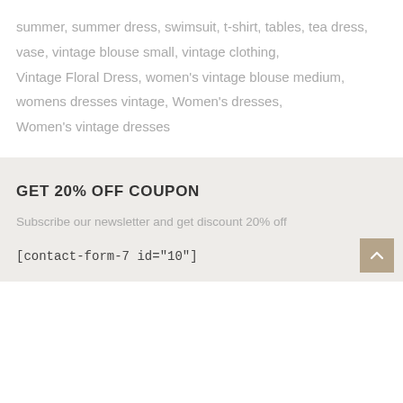summer, summer dress, swimsuit, t-shirt, tables, tea dress, vase, vintage blouse small, vintage clothing, Vintage Floral Dress, women's vintage blouse medium, womens dresses vintage, Women's dresses, Women's vintage dresses
GET 20% OFF COUPON
Subscribe our newsletter and get discount 20% off
[contact-form-7 id="10"]